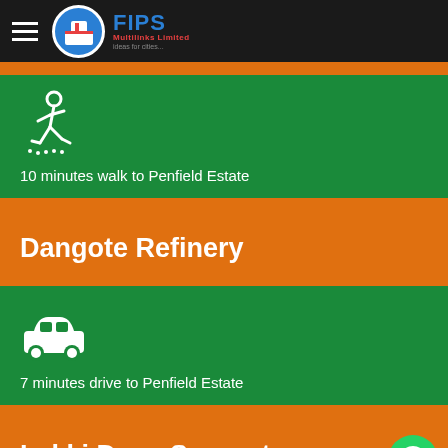FIPS Multilinks Limited — ideas for cities
[Figure (illustration): Walking person icon in white]
10 minutes walk to Penfield Estate
Dangote Refinery
[Figure (illustration): Car/drive icon in white]
7 minutes drive to Penfield Estate
Lekki Deep Seaport
[Figure (logo): WhatsApp logo button]